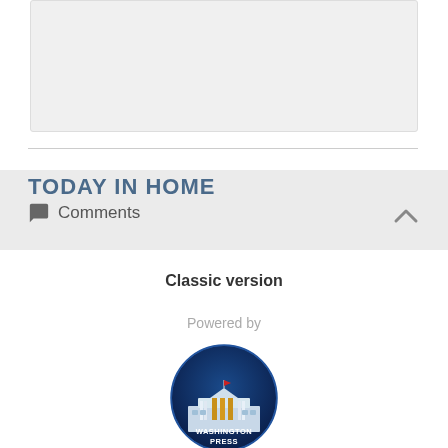[Figure (other): Gray placeholder box at top of page]
TODAY IN HOME
Comments
Classic version
Powered by
[Figure (logo): Washington Press logo — circular badge with dark blue background, White House illustration with gold columns, text WASHINGTON PRESS in white at bottom]